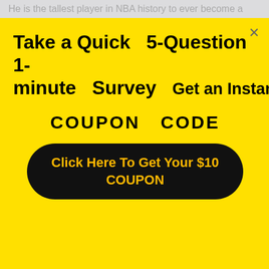[Figure (screenshot): Yellow popup overlay with survey offer. Title: 'Take a Quick 5-Question 1-minute Survey'. Text: 'Get an Instant $10'. Large bold text: 'COUPON CODE'. Black rounded button with yellow text: 'Click Here To Get Your $10 COUPON'. Close button (×) top right.]
Robert Bobroczky with 7 ft 7 in (2.31 m) height. Mel Hirsch - 5 ft 6 in. Isaiah Thomas - 1.75 meters. 2 min. World's Shortest Dunker | 5'2 High School Basketball Player tallest female basketball player in college - Yahoo Search ... He is the tallest player in NBA history to ever